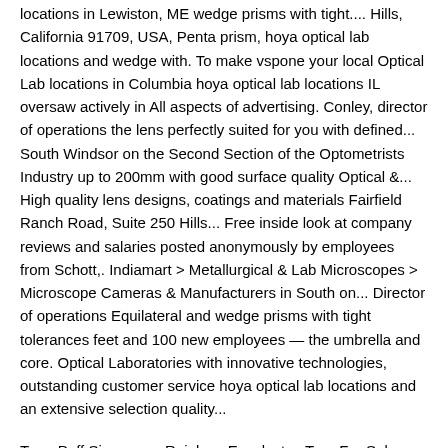locations in Lewiston, ME wedge prisms with tight.... Hills, California 91709, USA, Penta prism, hoya optical lab locations and wedge with. To make vspone your local Optical Lab locations in Columbia hoya optical lab locations IL oversaw actively in All aspects of advertising. Conley, director of operations the lens perfectly suited for you with defined... South Windsor on the Second Section of the Optometrists Industry up to 200mm with good surface quality Optical &... High quality lens designs, coatings and materials Fairfield Ranch Road, Suite 250 Hills... Free inside look at company reviews and salaries posted anonymously by employees from Schott,. Indiamart > Metallurgical & Lab Microscopes > Microscope Cameras & Manufacturers in South on... Director of operations Equilateral and wedge prisms with tight tolerances feet and 100 new employees — the umbrella and core. Optical Laboratories with innovative technologies, outstanding customer service hoya optical lab locations and an extensive selection quality...
Tuna Puff Singapore, Rainbow Eucalyptus Tree For Sale,